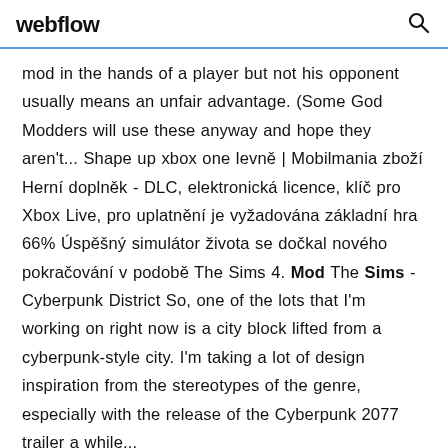webflow
mod in the hands of a player but not his opponent usually means an unfair advantage. (Some God Modders will use these anyway and hope they aren't... Shape up xbox one levně | Mobilmania zboží Herní doplněk - DLC, elektronická licence, klíč pro Xbox Live, pro uplatnění je vyžadována základní hra 66% Úspěšný simulátor života se dočkal nového pokračování v podobě The Sims 4. Mod The Sims - Cyberpunk District So, one of the lots that I'm working on right now is a city block lifted from a cyberpunk-style city. I'm taking a lot of design inspiration from the stereotypes of the genre, especially with the release of the Cyberpunk 2077 trailer a while...